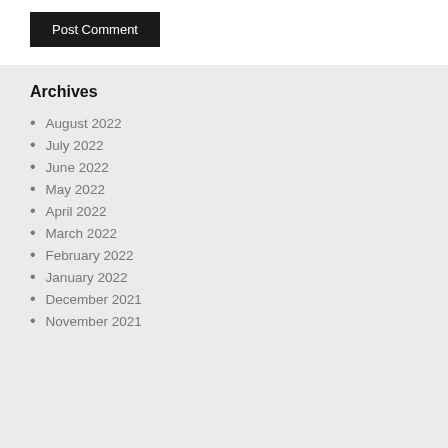Post Comment
Archives
August 2022
July 2022
June 2022
May 2022
April 2022
March 2022
February 2022
January 2022
December 2021
November 2021